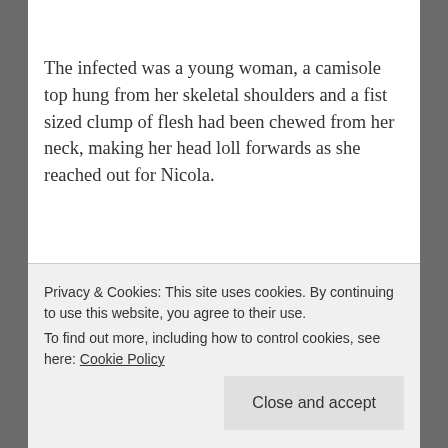The infected was a young woman, a camisole top hung from her skeletal shoulders and a fist sized clump of flesh had been chewed from her neck, making her head loll forwards as she reached out for Nicola.
Nicola fanned the hammer on the revolver and took the top of its head off with a shot as she
Privacy & Cookies: This site uses cookies. By continuing to use this website, you agree to their use. To find out more, including how to control cookies, see here: Cookie Policy
Close and accept
more of them.